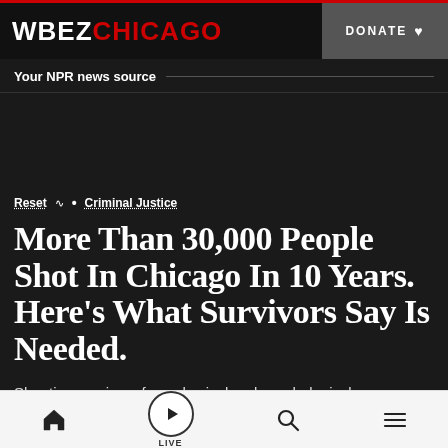WBEZ CHICAGO — DONATE
Your NPR news source
Reset • Criminal Justice
More Than 30,000 People Shot In Chicago In 10 Years. Here's What Survivors Say Is Needed.
Shooting survivors face physical and psychological recovery, often with little to no help. Could reallocating resources bring healing?
Home | Live | Search | Menu